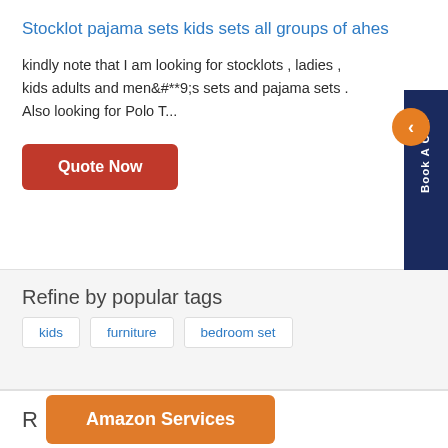Stocklot pajama sets kids sets all groups of ahes
kindly note that I am looking for stocklots , ladies , kids adults and men&#**9;s sets and pajama sets . Also looking for Polo T...
Quote Now
Refine by popular tags
kids
furniture
bedroom set
R
Amazon Services